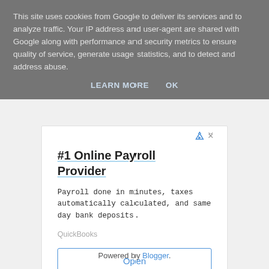This site uses cookies from Google to deliver its services and to analyze traffic. Your IP address and user-agent are shared with Google along with performance and security metrics to ensure quality of service, generate usage statistics, and to detect and address abuse.
LEARN MORE   OK
[Figure (screenshot): Advertisement for QuickBooks payroll service with title '#1 Online Payroll Provider', body text 'Payroll done in minutes, taxes automatically calculated, and same day bank deposits.', brand name 'QuickBooks', and an Open button.]
Powered by Blogger.